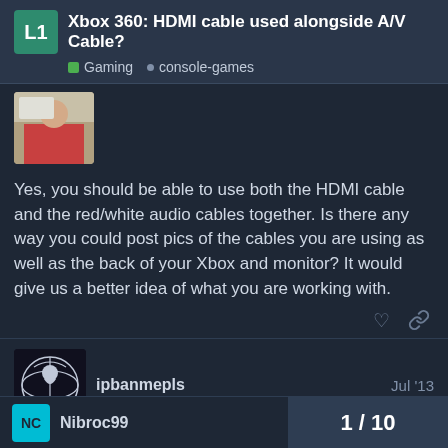Xbox 360: HDMI cable used alongside A/V Cable? | Gaming • console-games
[Figure (photo): User avatar showing a person at a computer with red shirt]
Yes, you should be able to use both the HDMI cable and the red/white audio cables together.  Is there any way you could post pics of the cables you are using as well as the back of your Xbox and monitor?  It would give us a better idea of what you are working with.
ipbanmepls   Jul '13
[Figure (illustration): User avatar with stylized figure/globe logo on dark background]
Yes that works I used to do the same thing.
Nibroc99   1 / 10